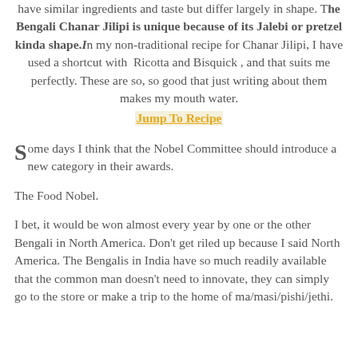have similar ingredients and taste but differ largely in shape. The Bengali Chanar Jilipi is unique because of its Jalebi or pretzel kinda shape. In my non-traditional recipe for Chanar Jilipi, I have used a shortcut with Ricotta and Bisquick , and that suits me perfectly. These are so, so good that just writing about them makes my mouth water.
Jump To Recipe
Some days I think that the Nobel Committee should introduce a new category in their awards.
The Food Nobel.
I bet, it would be won almost every year by one or the other Bengali in North America. Don't get riled up because I said North America. The Bengalis in India have so much readily available that the common man doesn't need to innovate, they can simply go to the store or make a trip to the home of ma/masi/pishi/jethi.